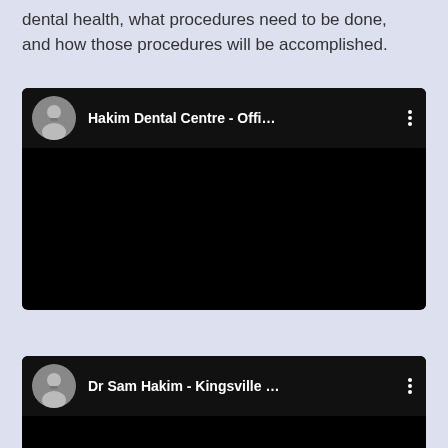dental health, what procedures need to be done, and how those procedures will be accomplished.
[Figure (screenshot): Embedded YouTube video player showing 'Hakim Dental Centre - Offi...' channel with black video area and channel avatar]
[Figure (screenshot): Embedded YouTube video player showing 'Dr Sam Hakim - Kingsville ...' channel with black video area and channel avatar]